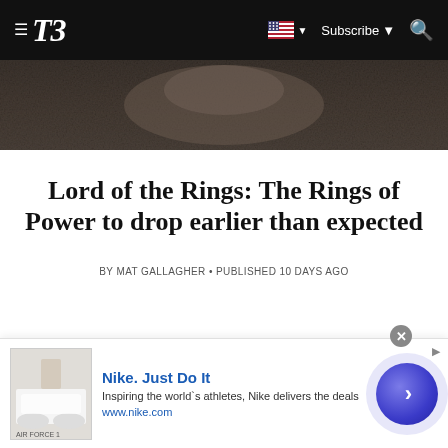T3 — Subscribe
[Figure (photo): Dark close-up hero image, appears to show a rough stone or textured surface, possibly related to Lord of the Rings]
Lord of the Rings: The Rings of Power to drop earlier than expected
BY MAT GALLAGHER • PUBLISHED 10 DAYS AGO
[Figure (infographic): Nike advertisement banner: Nike Air Force 1 shoe thumbnail, Nike. Just Do It headline, 'Inspiring the world's athletes, Nike delivers the deals', www.nike.com, with a circular CTA button]